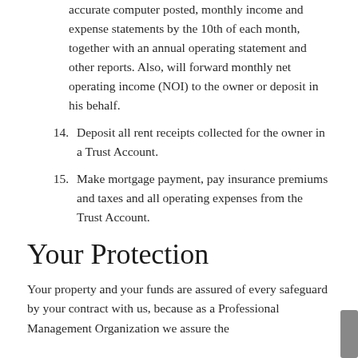accurate computer posted, monthly income and expense statements by the 10th of each month, together with an annual operating statement and other reports. Also, will forward monthly net operating income (NOI) to the owner or deposit in his behalf.
14. Deposit all rent receipts collected for the owner in a Trust Account.
15. Make mortgage payment, pay insurance premiums and taxes and all operating expenses from the Trust Account.
Your Protection
Your property and your funds are assured of every safeguard by your contract with us, because as a Professional Management Organization we assure the